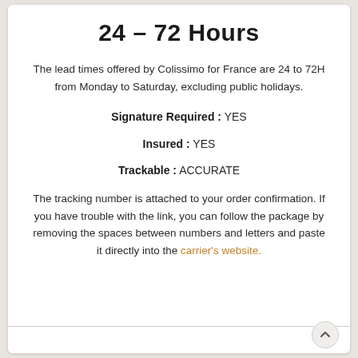24 – 72 Hours
The lead times offered by Colissimo for France are 24 to 72H from Monday to Saturday, excluding public holidays.
Signature Required : YES
Insured : YES
Trackable : ACCURATE
The tracking number is attached to your order confirmation. If you have trouble with the link, you can follow the package by removing the spaces between numbers and letters and paste it directly into the carrier's website.